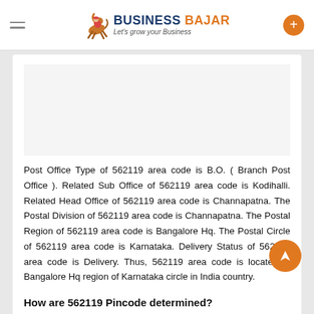BUSINESS BAJAR — Let's grow your Business
Post Office Type of 562119 area code is B.O. ( Branch Post Office ). Related Sub Office of 562119 area code is Kodihalli. Related Head Office of 562119 area code is Channapatna. The Postal Division of 562119 area code is Channapatna. The Postal Region of 562119 area code is Bangalore Hq. The Postal Circle of 562119 area code is Karnataka. Delivery Status of 562119 area code is Delivery. Thus, 562119 area code is located in Bangalore Hq region of Karnataka circle in India country.
How are 562119 Pincode determined?